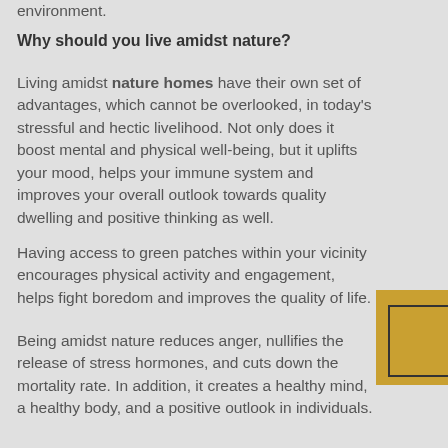with almost no exposure to the natural environment.
Why should you live amidst nature?
Living amidst nature homes have their own set of advantages, which cannot be overlooked, in today's stressful and hectic livelihood. Not only does it boost mental and physical well-being, but it uplifts your mood, helps your immune system and improves your overall outlook towards quality dwelling and positive thinking as well.
Having access to green patches within your vicinity encourages physical activity and engagement, helps fight boredom and improves the quality of life.
Being amidst nature reduces anger, nullifies the release of stress hormones, and cuts down the mortality rate. In addition, it creates a healthy mind, a healthy body, and a positive outlook in individuals.